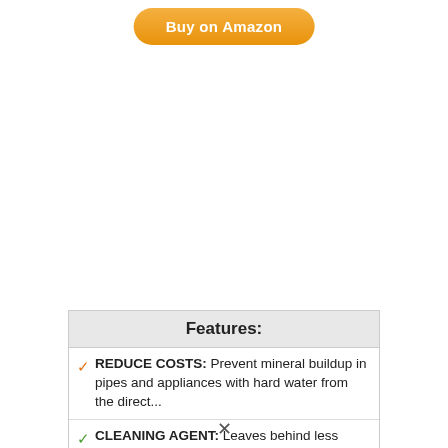[Figure (other): Orange 'Buy on Amazon' button at top of page]
Features:
REDUCE COSTS: Prevent mineral buildup in pipes and appliances with hard water from the direct...
CLEANING AGENT: Leaves behind less calcium and...